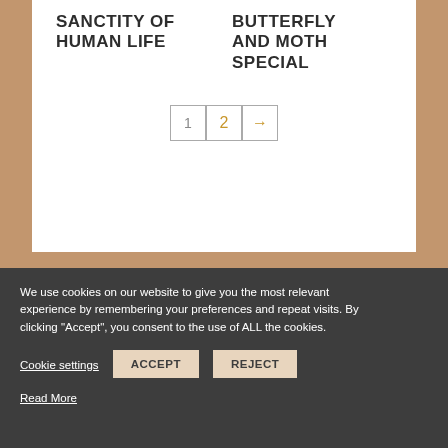SANCTITY OF HUMAN LIFE
BUTTERFLY AND MOTH SPECIAL
1 2 →
We use cookies on our website to give you the most relevant experience by remembering your preferences and repeat visits. By clicking "Accept", you consent to the use of ALL the cookies.
Cookie settings
ACCEPT
REJECT
Read More